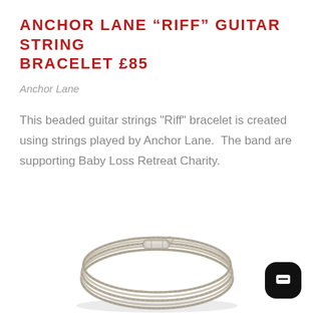ANCHOR LANE “RIFF” GUITAR STRING BRACELET £85
Anchor Lane
This beaded guitar strings "Riff" bracelet is created using strings played by Anchor Lane.  The band are supporting Baby Loss Retreat Charity.
[Figure (photo): A silver guitar string bracelet with a cylindrical metal clasp, coiled in a circular shape, photographed on a white background.]